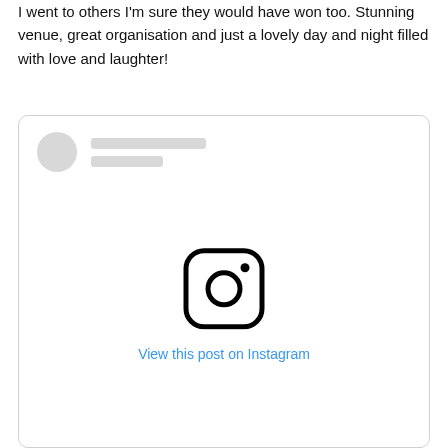I went to others I'm sure they would have won too. Stunning venue, great organisation and just a lovely day and night filled with love and laughter!
[Figure (screenshot): An embedded Instagram post card showing a blurred/placeholder profile avatar and name lines, the Instagram camera logo icon in the center, and a 'View this post on Instagram' link in blue.]